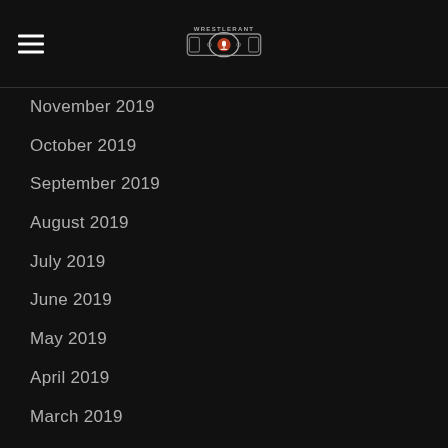WrestleRant logo and hamburger menu
November 2019
October 2019
September 2019
August 2019
July 2019
June 2019
May 2019
April 2019
March 2019
February 2019
January 2019
December 2018
November 2018
October 2018
September 2018
August 2018
July 2018
June 2018